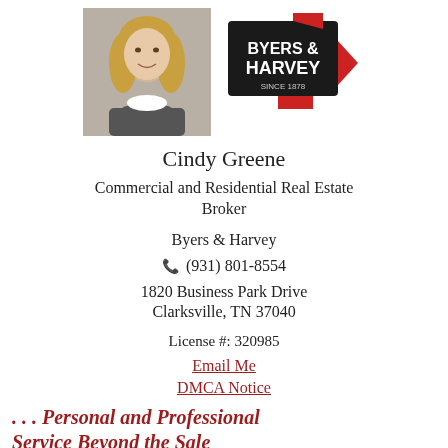[Figure (photo): Headshot photo of Cindy Greene, a woman with long blonde hair, smiling, wearing a dark gray top]
[Figure (logo): Byers & Harvey real estate company logo - black rectangle with red accent shapes, white text reading 'BYERS & HARVEY SINCE 1878']
Cindy Greene
Commercial and Residential Real Estate Broker
Byers & Harvey
(931) 801-8554
1820 Business Park Drive
Clarksville, TN 37040
License #: 320985
Email Me
DMCA Notice
. . . Personal and Professional Service Beyond the Sale
Clarksville Real Estate